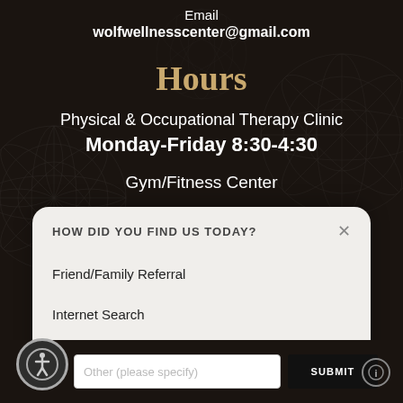Email
wolfwellnesscenter@gmail.com
Hours
Physical & Occupational Therapy Clinic
Monday-Friday 8:30-4:30
Gym/Fitness Center
HOW DID YOU FIND US TODAY?
Friend/Family Referral
Internet Search
Newspaper Ad
Other (please specify)
SUBMIT